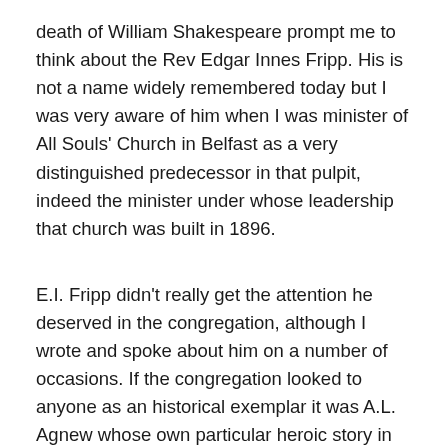death of William Shakespeare prompt me to think about the Rev Edgar Innes Fripp. His is not a name widely remembered today but I was very aware of him when I was minister of All Souls' Church in Belfast as a very distinguished predecessor in that pulpit, indeed the minister under whose leadership that church was built in 1896.
E.I. Fripp didn't really get the attention he deserved in the congregation, although I wrote and spoke about him on a number of occasions. If the congregation looked to anyone as an historical exemplar it was A.L. Agnew whose own particular heroic story in the course of a 54 year ministry was partly based on an undoing of the achievements of his predecessor Fripp. He did away with the 'Fripperies'